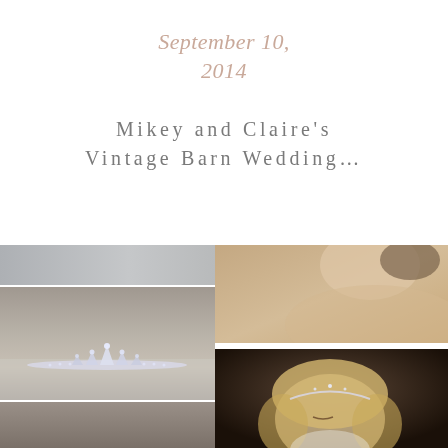September 10, 2014
Mikey and Claire's Vintage Barn Wedding…
[Figure (photo): Small gray/neutral photo strip at top left]
[Figure (photo): Close-up photo of a crystal/rhinestone bridal tiara on a light purple/lavender surface]
[Figure (photo): Small darker photo strip at bottom left]
[Figure (photo): Photo of bride's bare neck and shoulder from behind, warm beige background]
[Figure (photo): Photo of a blonde bride wearing a tiara, eyes downcast, dark background]